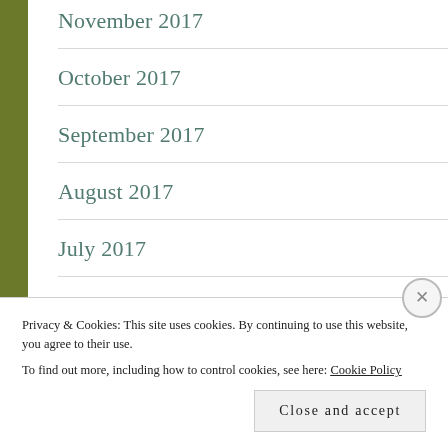November 2017
October 2017
September 2017
August 2017
July 2017
June 2017
Privacy & Cookies: This site uses cookies. By continuing to use this website, you agree to their use.
To find out more, including how to control cookies, see here: Cookie Policy
Close and accept